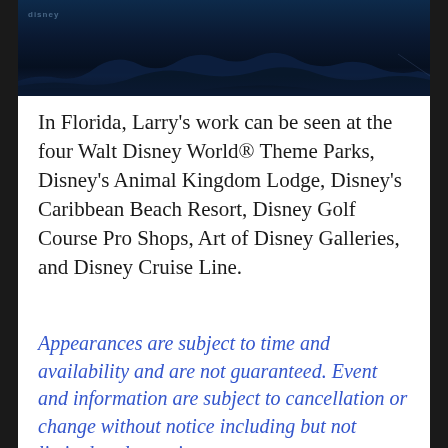[Figure (photo): Dark nighttime scenic photo with blue tones showing mountains or landscape reflected in water, with a small 'disney' watermark in upper left]
In Florida, Larry's work can be seen at the four Walt Disney World® Theme Parks, Disney's Animal Kingdom Lodge, Disney's Caribbean Beach Resort, Disney Golf Course Pro Shops, Art of Disney Galleries, and Disney Cruise Line.
Appearances are subject to time and availability and are not guaranteed. Event and information are subject to cancellation or change without notice including but not limited to dates, times, places, etc. to venues, products, details...